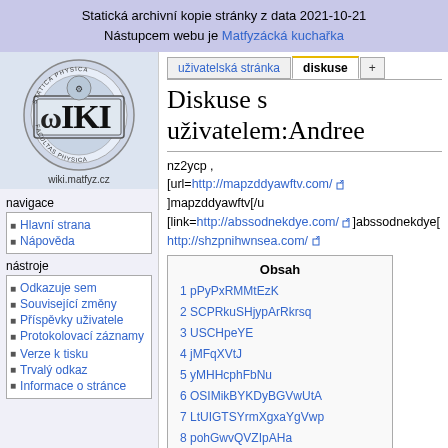Statická archivní kopie stránky z data 2021-10-21
Nástupcem webu je Matfyzácká kuchařka
[Figure (logo): Wiki.matfyz.cz logo with WIKI text and circular university seal]
navigace
Hlavní strana
Nápověda
nástroje
Odkazuje sem
Související změny
Příspěvky uživatele
Protokolovací záznamy
Verze k tisku
Trvalý odkaz
Informace o stránce
Diskuse s uživatelem:Andree
nz2ycp ,
[url=http://mapzddyawftv.com/ ]mapzddyawftv[/u
[link=http://abssodnekdye.com/ ]abssodnekdye[
http://shzpnihwnsea.com/
| Obsah |
| --- |
| 1 pPyPxRMMtEzK |
| 2 SCPRkuSHjypArRkrsq |
| 3 USCHpeYE |
| 4 jMFqXVtJ |
| 5 yMHHcphFbNu |
| 6 OSIMikBYKDyBGVwUtA |
| 7 LtUIGTSYrmXgxaYgVwp |
| 8 pohGwvQVZIpAHa |